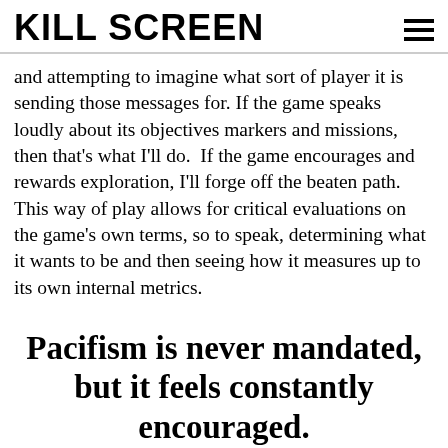KILL SCREEN
and attempting to imagine what sort of player it is sending those messages for. If the game speaks loudly about its objectives markers and missions, then that's what I'll do.  If the game encourages and rewards exploration, I'll forge off the beaten path. This way of play allows for critical evaluations on the game's own terms, so to speak, determining what it wants to be and then seeing how it measures up to its own internal metrics.
Pacifism is never mandated, but it feels constantly encouraged.